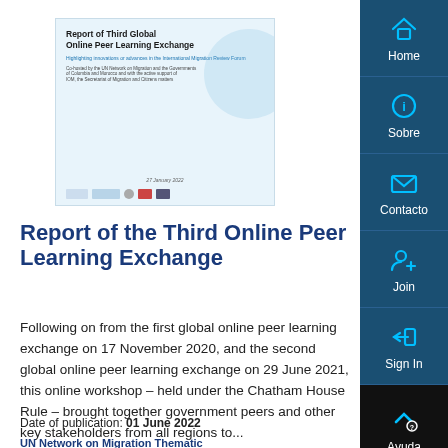[Figure (illustration): Thumbnail of the Report of Third Global Online Peer Learning Exchange document cover, showing the report title, subtitle, date 27 January 2022, logos of partner organizations, and a light blue background with circular design elements.]
Report of the Third Online Peer Learning Exchange
Following on from the first global online peer learning exchange on 17 November 2020, and the second global online peer learning exchange on 29 June 2021, this online workshop – held under the Chatham House Rule – brought together government peers and other key stakeholders from all regions to...
Date of publication: 01 June 2022
UN Network on Migration Thematic...